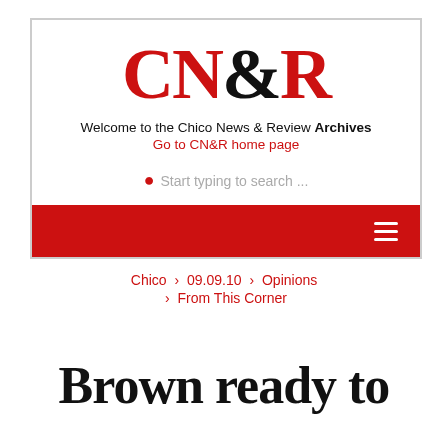[Figure (logo): CN&R logo with tagline, search bar, and red navigation bar]
Chico › 09.09.10 › Opinions › From This Corner
Brown ready to